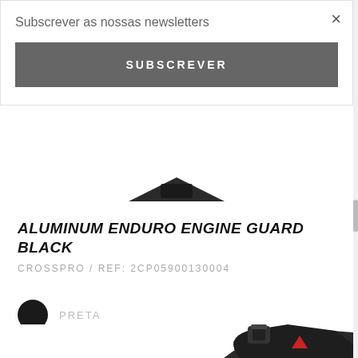Subscrever as nossas newsletters
SUBSCREVER
ALUMINUM ENDURO ENGINE GUARD BLACK
CROSSPRO / REF: 2CP05900130004
PRETA
[Figure (photo): Partial view of black aluminum enduro engine guard product image]
[Figure (photo): Bottom partial view of black aluminum enduro engine guard with red triangle logo detail]